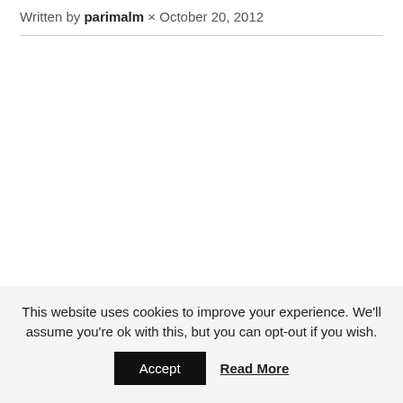Written by parimalm × October 20, 2012
This website uses cookies to improve your experience. We'll assume you're ok with this, but you can opt-out if you wish.